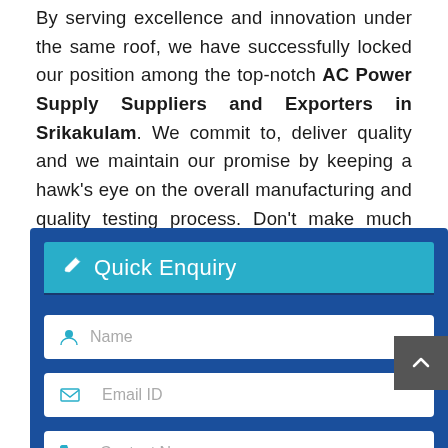By serving excellence and innovation under the same roof, we have successfully locked our position among the top-notch AC Power Supply Suppliers and Exporters in Srikakulam. We commit to, deliver quality and we maintain our promise by keeping a hawk's eye on the overall manufacturing and quality testing process. Don't make much delay and drop us your enquiry today.
[Figure (screenshot): Quick Enquiry form with fields for Name, Email ID, and Contact No. on a dark blue background with a teal header bar.]